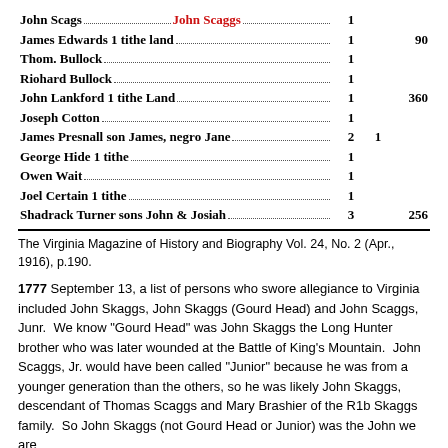| Name | Tithes | Value |
| --- | --- | --- |
| John Scags | 1 |  |
| James Edwards 1 tithe land | 1 | 90 |
| Thom. Bullock | 1 |  |
| Riohard Bullock | 1 |  |
| John Lankford 1 tithe Land | 1 | 360 |
| Joseph Cotton | 1 |  |
| James Presnall son James, negro Jane | 2 | 1 |
| George Hide 1 tithe | 1 |  |
| Owen Wait | 1 |  |
| Joel Certain 1 tithe | 1 |  |
| Shadrack Turner sons John & Josiah | 3 | 256 |
The Virginia Magazine of History and Biography Vol. 24, No. 2 (Apr., 1916), p.190.
1777 September 13, a list of persons who swore allegiance to Virginia included John Skaggs, John Skaggs (Gourd Head) and John Scaggs, Junr.  We know "Gourd Head" was John Skaggs the Long Hunter brother who was later wounded at the Battle of King's Mountain.  John Scaggs, Jr. would have been called "Junior" because he was from a younger generation than the others, so he was likely John Skaggs, descendant of Thomas Scaggs and Mary Brashier of the R1b Skaggs family.  So John Skaggs (not Gourd Head or Junior) was the John we are